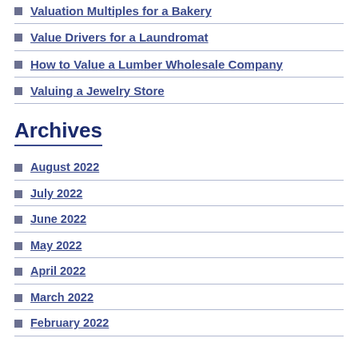Valuation Multiples for a Bakery
Value Drivers for a Laundromat
How to Value a Lumber Wholesale Company
Valuing a Jewelry Store
Archives
August 2022
July 2022
June 2022
May 2022
April 2022
March 2022
February 2022